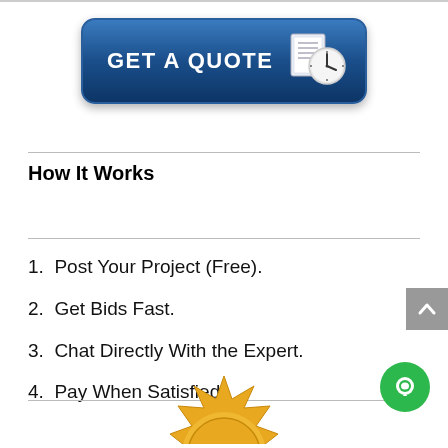[Figure (other): Blue rounded button with white text GET A QUOTE and a clock icon on the right]
How It Works
1. Post Your Project (Free).
2. Get Bids Fast.
3. Chat Directly With the Expert.
4. Pay When Satisfied.
[Figure (illustration): Partial gold/yellow star badge at the bottom of the page]